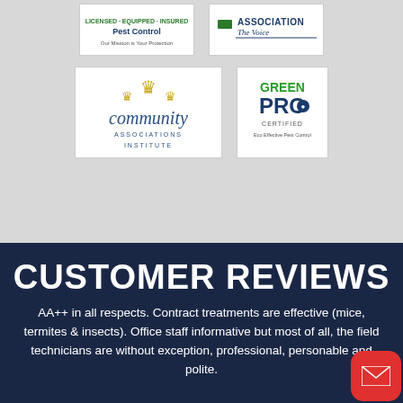[Figure (logo): Two logo boxes in top row: pest control company logo and an association logo with 'The Voice']
[Figure (logo): Community Associations Institute logo and Green Pro Certified logo]
CUSTOMER REVIEWS
AA++ in all respects. Contract treatments are effective (mice, termites & insects). Office staff informative but most of all, the field technicians are without exception, professional, personable and polite.